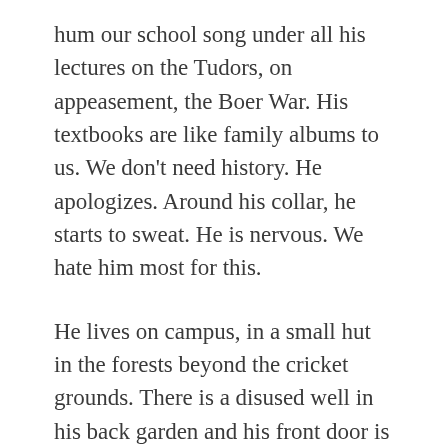hum our school song under all his lectures on the Tudors, on appeasement, the Boer War. His textbooks are like family albums to us. We don't need history. He apologizes. Around his collar, he starts to sweat. He is nervous. We hate him most for this.
He lives on campus, in a small hut in the forests beyond the cricket grounds. There is a disused well in his back garden and his front door is cabbage white.
On Halloween night, we stole Commedia masks from the theatre department and hid in the trees surrounding his house. Silent we stood, almost invisible among the oaks,